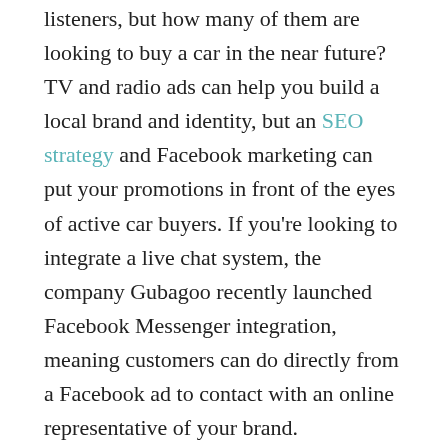listeners, but how many of them are looking to buy a car in the near future? TV and radio ads can help you build a local brand and identity, but an SEO strategy and Facebook marketing can put your promotions in front of the eyes of active car buyers. If you're looking to integrate a live chat system, the company Gubagoo recently launched Facebook Messenger integration, meaning customers can do directly from a Facebook ad to contact with an online representative of your brand.
#2 Organic Leads Online
In addition to providing a direct line of communication to your brand in your online marketing campaign, a dealer live chat also